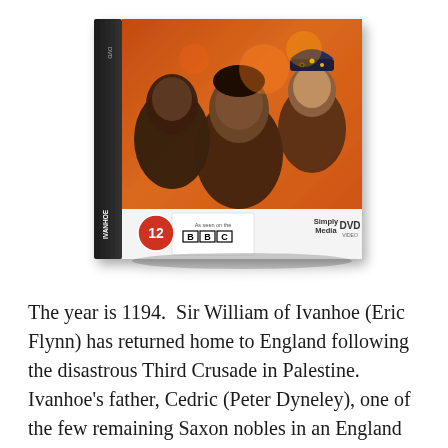[Figure (photo): DVD cover of Ivanhoe showing three actors (two men and a woman) in medieval/historical costume against a dramatic orange background. The cover shows BBC branding, a '12' rating badge, Simply Media DVD logo, and a DVD spine on the left.]
The year is 1194.  Sir William of Ivanhoe (Eric Flynn) has returned home to England following the disastrous Third Crusade in Palestine. Ivanhoe's father, Cedric (Peter Dyneley), one of the few remaining Saxon nobles in an England now dominated by the Normans, has broken off relations with his son due to Ivanhoe's support